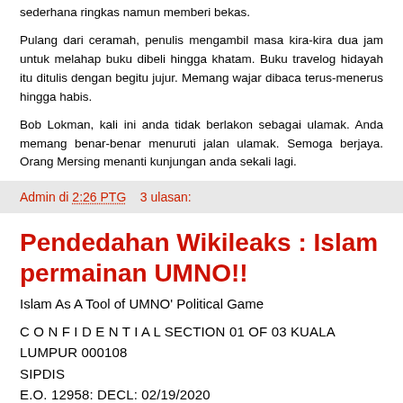sederhana ringkas namun memberi bekas.
Pulang dari ceramah, penulis mengambil masa kira-kira dua jam untuk melahap buku dibeli hingga khatam. Buku travelog hidayah itu ditulis dengan begitu jujur. Memang wajar dibaca terus-menerus hingga habis.
Bob Lokman, kali ini anda tidak berlakon sebagai ulamak. Anda memang benar-benar menuruti jalan ulamak. Semoga berjaya. Orang Mersing menanti kunjungan anda sekali lagi.
Admin di 2:26 PTG    3 ulasan:
Pendedahan Wikileaks : Islam permainan UMNO!!
Islam As A Tool of UMNO' Political Game
C O N F I D E N T I A L SECTION 01 OF 03 KUALA LUMPUR 000108
SIPDIS
E.O. 12958: DECL: 02/19/2020